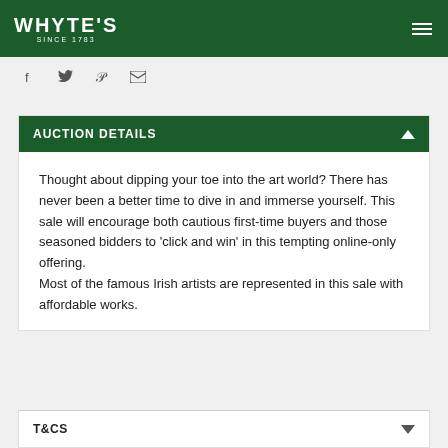WHYTE'S SINCE 1783
AUCTION DETAILS
Thought about dipping your toe into the art world? There has never been a better time to dive in and immerse yourself. This sale will encourage both cautious first-time buyers and those seasoned bidders to ‘click and win’ in this tempting online-only offering.
Most of the famous Irish artists are represented in this sale with affordable works.
T&CS